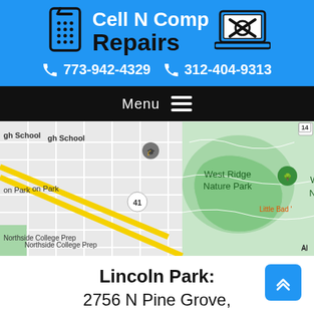[Figure (logo): Cell N Comp Repairs logo with phone icon on left and laptop icon on right on blue background]
773-942-4329   312-404-9313
Menu
[Figure (map): Google Maps screenshot showing West Ridge Nature Park, Chicago area with streets, Northside College Prep, and other landmarks]
Lincoln Park:
2756 N Pine Grove, Chicago, IL 60614